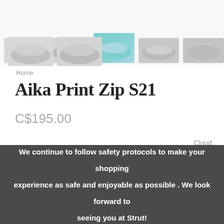[Figure (photo): Thumbnail images of sneakers (white/grey printed shoes and a blue patterned shoe) shown in a row at the top of the page]
Home
Aika Print Zip S21
C$195.00
Cloud
1 In stock
We continue to follow safety protocols to make your shopping experience as safe and enjoyable as possible . We look forward to seeing you at Strut!